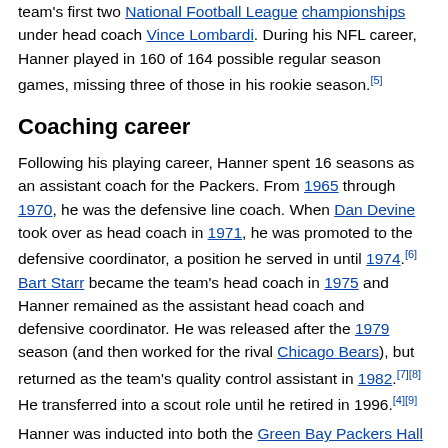team's first two National Football League championships under head coach Vince Lombardi. During his NFL career, Hanner played in 160 of 164 possible regular season games, missing three of those in his rookie season.[5]
Coaching career
Following his playing career, Hanner spent 16 seasons as an assistant coach for the Packers. From 1965 through 1970, he was the defensive line coach. When Dan Devine took over as head coach in 1971, he was promoted to the defensive coordinator, a position he served in until 1974.[6] Bart Starr became the team's head coach in 1975 and Hanner remained as the assistant head coach and defensive coordinator. He was released after the 1979 season (and then worked for the rival Chicago Bears), but returned as the team's quality control assistant in 1982.[7][8] He transferred into a scout role until he retired in 1996.[4][9]
Hanner was inducted into both the Green Bay Packers Hall of Fame and the Arkansas Sports Hall of Fame.
Death